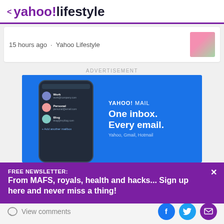< yahoo!lifestyle
15 hours ago · Yahoo Lifestyle
ADVERTISEMENT
[Figure (screenshot): Yahoo Mail advertisement showing a smartphone with Work, Personal, Blog mailboxes and text 'One inbox. Every email.']
FREE NEWSLETTER:
From MAFS, royals, health and hacks... Sign up here and never miss a thing!
View comments